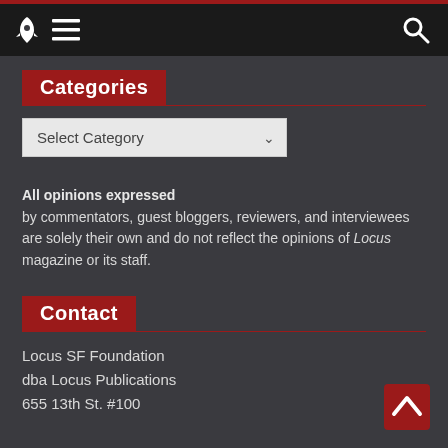Navigation bar with rocket logo, menu icon, and search icon
Categories
Select Category (dropdown)
All opinions expressed by commentators, guest bloggers, reviewers, and interviewees are solely their own and do not reflect the opinions of Locus magazine or its staff.
Contact
Locus SF Foundation
dba Locus Publications
655 13th St. #100